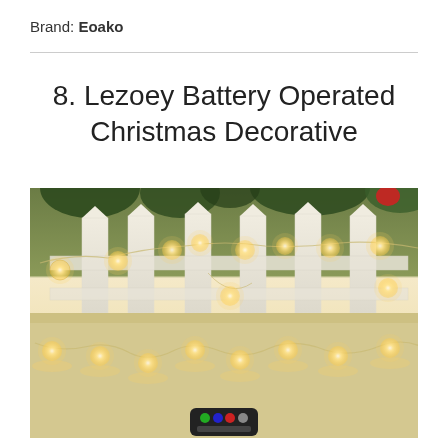Brand: Eoako
8. Lezoey Battery Operated Christmas Decorative
[Figure (photo): Photo of warm white globe string lights draped over a white picket fence outdoors, with a small remote control visible at the bottom center of the image. The lights emit a warm golden glow.]